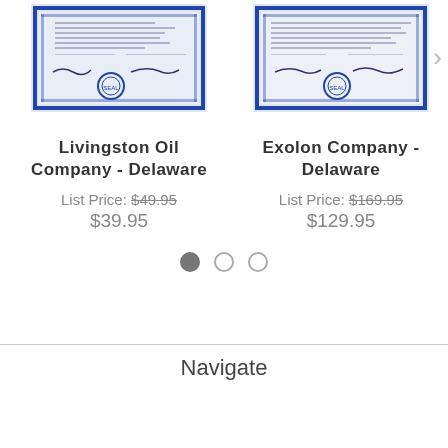[Figure (photo): Stock certificate image for Livingston Oil Company - Delaware with blue border and decorative design]
[Figure (photo): Stock certificate image for Exolon Company - Delaware with blue border and decorative design]
Livingston Oil Company - Delaware
List Price: $49.95
$39.95
Exolon Company - Delaware
List Price: $169.95
$129.95
[Figure (other): Carousel pagination dots: one filled, two empty]
Navigate